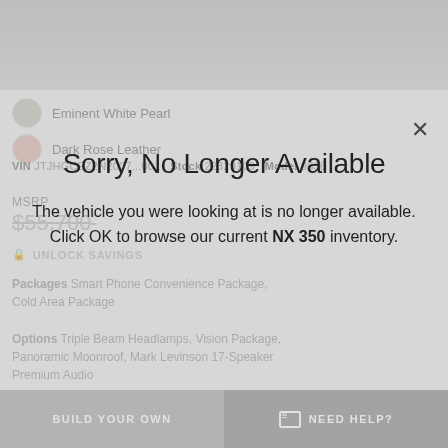[Figure (screenshot): Car vehicle listing page background showing color swatches for Eminent White Pearl and Dark Rose Leather, VIN/Stock/Model info, MSRP $55,700, Unlock Savings button, Packages and Options details]
Sorry, No Longer Available
The vehicle you were looking at is no longer available. Click OK to browse our current NX 350 inventory.
BUILD YOUR OWN
NEED HELP?